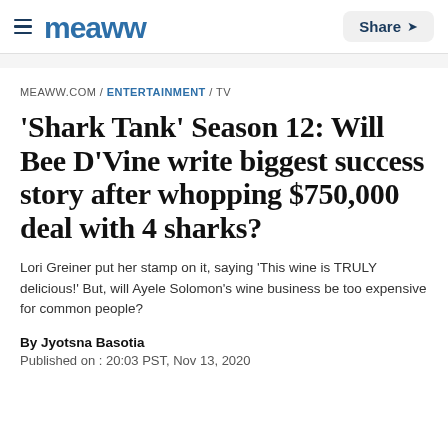meaww | Share
MEAWW.COM / ENTERTAINMENT / TV
'Shark Tank' Season 12: Will Bee D'Vine write biggest success story after whopping $750,000 deal with 4 sharks?
Lori Greiner put her stamp on it, saying 'This wine is TRULY delicious!' But, will Ayele Solomon's wine business be too expensive for common people?
By Jyotsna Basotia
Published on : 20:03 PST, Nov 13, 2020